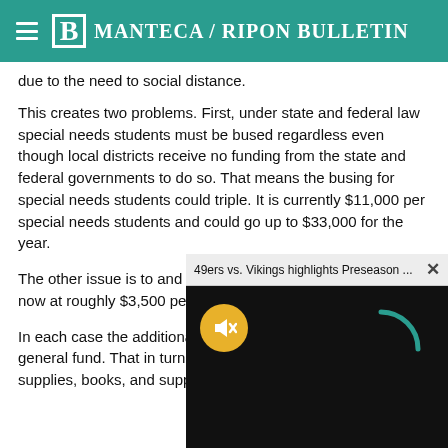Manteca / Ripon Bulletin
due to the need to social distance.
This creates two problems. First, under state and federal law special needs students must be bused regardless even though local districts receive no funding from the state and federal governments to do so. That means the busing for special needs students could triple. It is currently $11,000 per special needs students and could go up to $33,000 for the year.
The other issue is to and f... now at roughly $3,500 per...
In each case the additiona... general fund. That in turn... supplies, books, and suppo...
[Figure (screenshot): Video overlay popup showing '49ers vs. Vikings highlights Preseason ...' with a mute button (yellow circle with mute icon) and a loading spinner arc on a black background.]